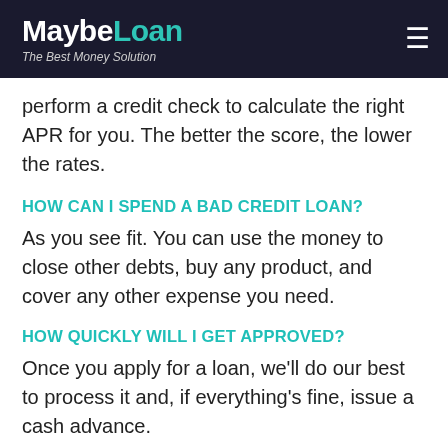MaybeLoan — The Best Money Solution
perform a credit check to calculate the right APR for you. The better the score, the lower the rates.
HOW CAN I SPEND A BAD CREDIT LOAN?
As you see fit. You can use the money to close other debts, buy any product, and cover any other expense you need.
HOW QUICKLY WILL I GET APPROVED?
Once you apply for a loan, we'll do our best to process it and, if everything's fine, issue a cash advance.
HOW WILL I GET THE CASH?
We transfer the money to your bank account. That's why it's important to check the information twice while filling out the form.